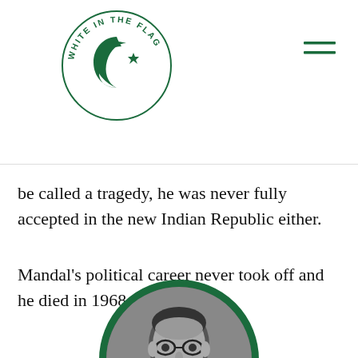WHITE IN THE FLAG (logo with crescent and star)
be called a tragedy, he was never fully accepted in the new Indian Republic either.
Mandal's political career never took off and he died in 1968.
[Figure (photo): Black and white circular portrait photo of a man wearing glasses, framed with a thick green border]